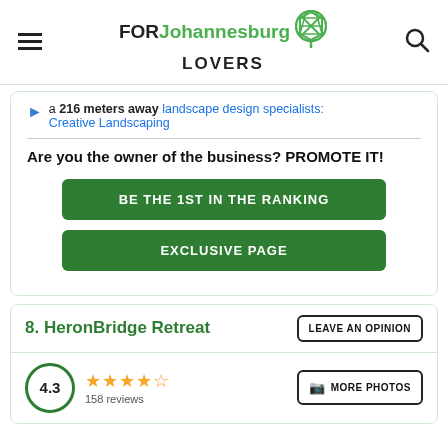FOR Johannesburg LOVERS
a 216 meters away landscape design specialists: Creative Landscaping
Are you the owner of the business? PROMOTE IT!
BE THE 1ST IN THE RANKING
EXCLUSIVE PAGE
8. HeronBridge Retreat
LEAVE AN OPINION
4.3
158 reviews
MORE PHOTOS